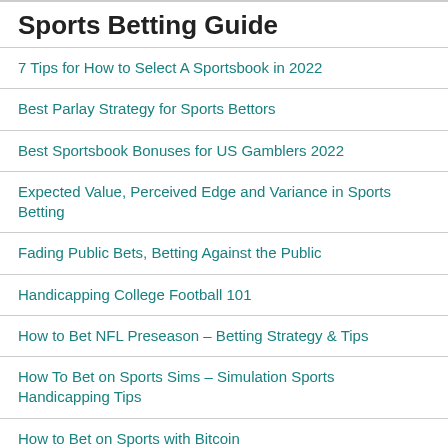Sports Betting Guide
7 Tips for How to Select A Sportsbook in 2022
Best Parlay Strategy for Sports Bettors
Best Sportsbook Bonuses for US Gamblers 2022
Expected Value, Perceived Edge and Variance in Sports Betting
Fading Public Bets, Betting Against the Public
Handicapping College Football 101
How to Bet NFL Preseason – Betting Strategy & Tips
How To Bet on Sports Sims – Simulation Sports Handicapping Tips
How to Bet on Sports with Bitcoin
How to Handicap Teams Off a Demoralizing Loss